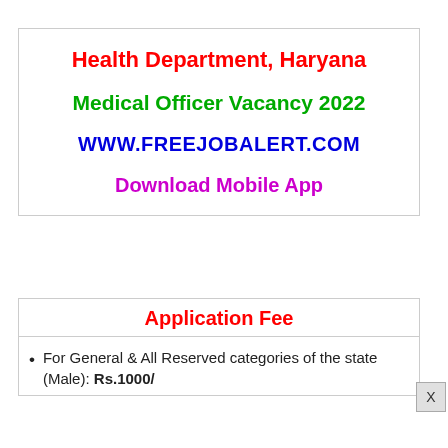Health Department, Haryana
Medical Officer Vacancy 2022
WWW.FREEJOBALERT.COM
Download Mobile App
Application Fee
For General & All Reserved categories of the state (Male): Rs.1000/